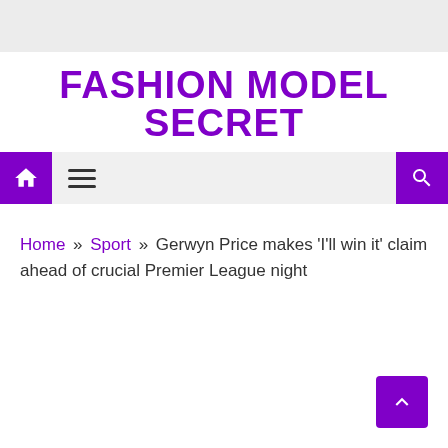FASHION MODEL SECRET
Home » Sport » Gerwyn Price makes 'I'll win it' claim ahead of crucial Premier League night